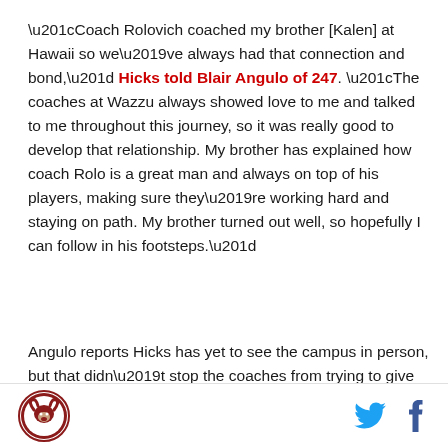“Coach Rolovich coached my brother [Kalen] at Hawaii so we’ve always had that connection and bond,” Hicks told Blair Angulo of 247. “The coaches at Wazzu always showed love to me and talked to me throughout this journey, so it was really good to develop that relationship. My brother has explained how coach Rolo is a great man and always on top of his players, making sure they’re working hard and staying on path. My brother turned out well, so hopefully I can follow in his footsteps.”
Angulo reports Hicks has yet to see the campus in person, but that didn’t stop the coaches from trying to give him a feel for Pullman.
[Figure (logo): Colorado State Rams circular logo with ram head in maroon and white]
[Figure (other): Twitter bird icon and Facebook f icon social media buttons]